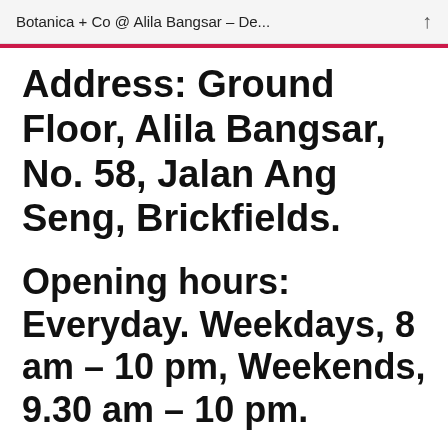Botanica + Co @ Alila Bangsar – De...
Address: Ground Floor, Alila Bangsar, No. 58, Jalan Ang Seng, Brickfields.
Opening hours: Everyday. Weekdays, 8 am – 10 pm, Weekends, 9.30 am – 10 pm.
Signing out now, Ciao.
FoodBunny